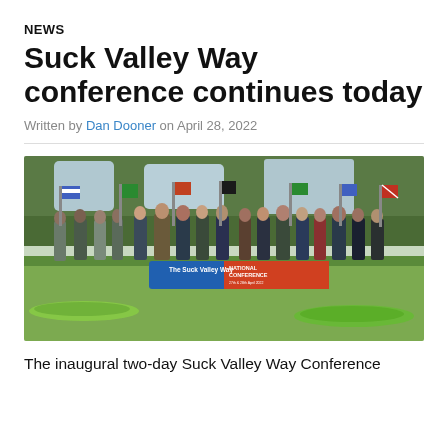NEWS
Suck Valley Way conference continues today
Written by Dan Dooner on April 28, 2022
[Figure (photo): Group of people standing on grass in front of flags and a banner reading 'The Suck Valley Way NATIONAL CONFERENCE', with kayaks in the foreground and trees in the background.]
The inaugural two-day Suck Valley Way Conference